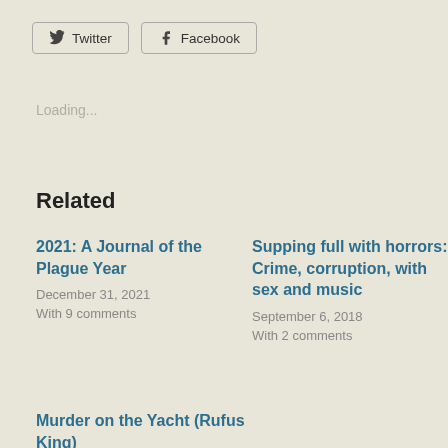[Figure (other): Twitter and Facebook share buttons]
Loading...
Related
2021: A Journal of the Plague Year
December 31, 2021
With 9 comments
Supping full with horrors: Crime, corruption, with sex and music
September 6, 2018
With 2 comments
Murder on the Yacht (Rufus King)